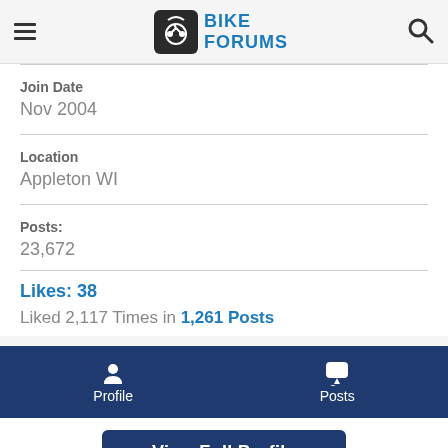Bike Forums
Join Date
Nov 2004
Location
Appleton WI
Posts:
23,672
Likes: 38
Liked 2,117 Times in 1,261 Posts
Profile | Posts | View Full Profile